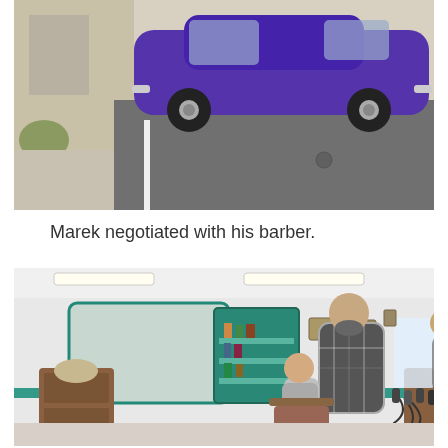[Figure (photo): A purple classic car parked in a parking lot next to a building with a beige exterior. Asphalt surface with white parking line visible.]
Marek negotiated with his barber.
[Figure (photo): Interior of a barber shop with teal/green accents, mirrors, shelves with products, a large man in a plaid shirt standing, and a young child sitting in the barber chair. Various equipment and cords visible on the right side.]